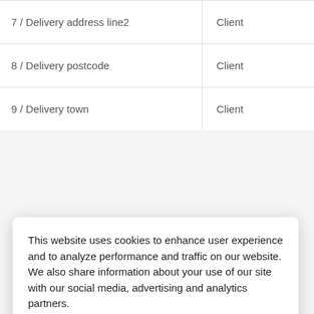| Field | Who |
| --- | --- |
| 7 / Delivery address line2 | Client |
| 8 / Delivery postcode | Client |
| 9 / Delivery town | Client |
This website uses cookies to enhance user experience and to analyze performance and traffic on our website. We also share information about your use of our site with our social media, advertising and analytics partners.
Accept Cookies
Reject All
Do Not Sell My Personal Information